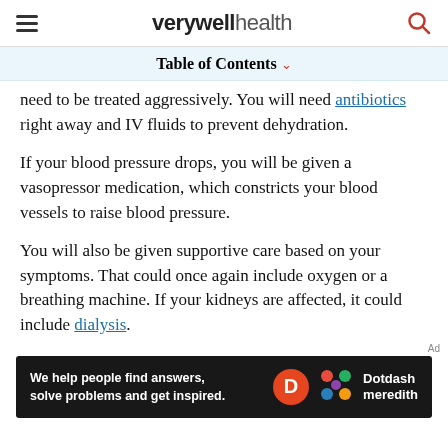verywell health
Table of Contents
...need to be treated aggressively. You will need antibiotics right away and IV fluids to prevent dehydration.
If your blood pressure drops, you will be given a vasopressor medication, which constricts your blood vessels to raise blood pressure.
You will also be given supportive care based on your symptoms. That could once again include oxygen or a breathing machine. If your kidneys are affected, it could include dialysis.
[Figure (other): Dotdash Meredith advertisement banner: 'We help people find answers, solve problems and get inspired.']